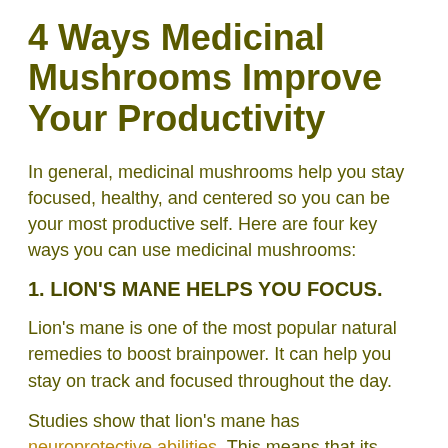4 Ways Medicinal Mushrooms Improve Your Productivity
In general, medicinal mushrooms help you stay focused, healthy, and centered so you can be your most productive self. Here are four key ways you can use medicinal mushrooms:
1. LION'S MANE HELPS YOU FOCUS.
Lion's mane is one of the most popular natural remedies to boost brainpower. It can help you stay on track and focused throughout the day.
Studies show that lion's mane has neuroprotective abilities. This means that its